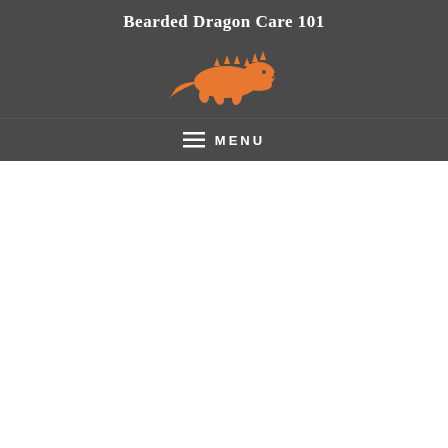Bearded Dragon Care 101
[Figure (logo): Orange bearded dragon lizard silhouette logo facing right]
MENU